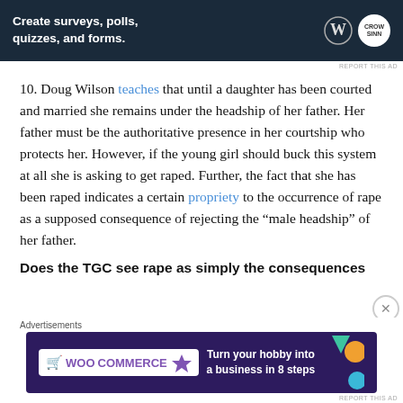[Figure (other): Advertisement banner: dark navy background with text 'Create surveys, polls, quizzes, and forms.' WordPress logo and crown badge on right.]
10. Doug Wilson teaches that until a daughter has been courted and married she remains under the headship of her father. Her father must be the authoritative presence in her courtship who protects her. However, if the young girl should buck this system at all she is asking to get raped. Further, the fact that she has been raped indicates a certain propriety to the occurrence of rape as a supposed consequence of rejecting the “male headship” of her father.
Does the TGC see rape as simply the consequences
[Figure (other): WooCommerce advertisement banner: dark purple background with WooCommerce logo and text 'Turn your hobby into a business in 8 steps' with colorful geometric shapes.]